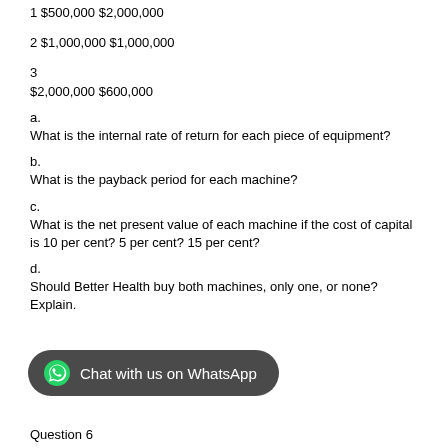1 $500,000 $2,000,000
2 $1,000,000 $1,000,000
3
$2,000,000 $600,000
a.
What is the internal rate of return for each piece of equipment?
b.
What is the payback period for each machine?
c.
What is the net present value of each machine if the cost of capital
is 10 per cent? 5 per cent? 15 per cent?
d.
Should Better Health buy both machines, only one, or none? Explain.
Question 6